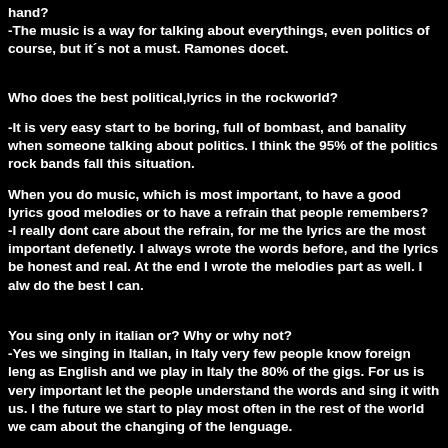hand?
-The music is a way for talking about everythings, even politics of course, but it´s not a must. Ramones docet.
Who does the best political,lyrics in the rockworld?
-It is very easy start to be boring, full of bombast, and banality when someone talking about politics. I think the 95% of the politics rock bands fall this situation.
When you do music, which is most important, to have a good lyrics good melodies or to have a refrain that people remembers?
-I really dont care about the refrain, for me the lyrics are the most important defenetly. I always wrote the words before, and the lyrics be honest and real. At the end I wrote the melodies part as well. I alw do the best I can.
You sing only in italian or? Why or why not?
-Yes we singing in Italian, in Italy very few people know foreign leng as English and we play in Italy the 80% of the gigs. For us is very important let the people understand the words and sing it with us. I the future we start to play most often in the rest of the world we cam about the changing of the lenguage.